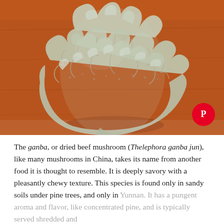[Figure (photo): Close-up photograph of a ganba (dried beef mushroom, Thelephora ganba jun), a pale grey-green clustered fungus with ruffled, layered texture, hanging against a warm orange-brown wooden background. A Pinterest logo badge appears in the lower right corner of the image.]
The ganba, or dried beef mushroom (Thelephora ganba jun), like many mushrooms in China, takes its name from another food it is thought to resemble. It is deeply savory with a pleasantly chewy texture. This species is found only in sandy soils under pine trees, and only in Yunnan. It has a pungent aroma and flavor, like concentrated pine, and is typically served shredded and